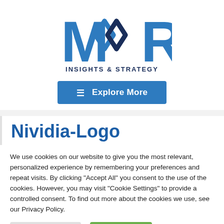[Figure (logo): Moor Insights & Strategy logo with interlocking diamond shapes in blue and dark navy, with text INSIGHTS & STRATEGY below]
[Figure (other): Blue button with hamburger menu icon and text Explore More]
Nividia-Logo
We use cookies on our website to give you the most relevant, personalized experience by remembering your preferences and repeat visits. By clicking "Accept All" you consent to the use of the cookies. However, you may visit "Cookie Settings" to provide a controlled consent. To find out more about the cookies we use, see our Privacy Policy.
Cookie Settings | Accept All